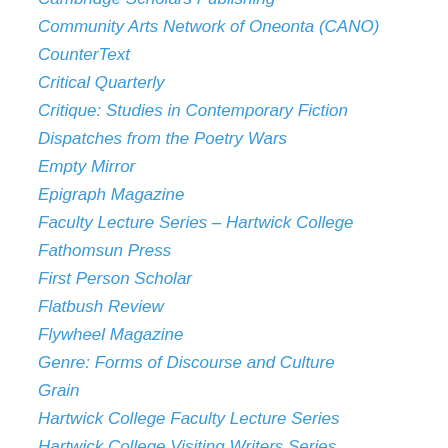Cambridge Scholars Publishing
Community Arts Network of Oneonta (CANO)
CounterText
Critical Quarterly
Critique: Studies in Contemporary Fiction
Dispatches from the Poetry Wars
Empty Mirror
Epigraph Magazine
Faculty Lecture Series – Hartwick College
Fathomsun Press
First Person Scholar
Flatbush Review
Flywheel Magazine
Genre: Forms of Discourse and Culture
Grain
Hartwick College Faculty Lecture Series
Hartwick College Visiting Writers Series
Hemingway's Summer Poetry Series
hotmetalbridge
HVTN